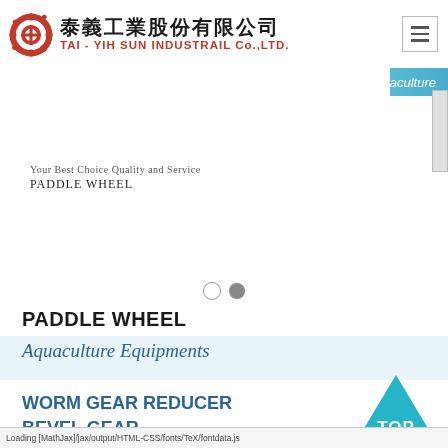泰義工業股份有限公司 TAI - YIH SUN INDUSTRAIL Co.,LTD.
Your Best Choice Quality and Service
PADDLE WHEEL
Aquaculture
PADDLE WHEEL
Aquaculture Equipments
WORM GEAR REDUCER
BEVEL GEAR
[Figure (other): Cyan/teal triangle button with text TOP]
Loading [MathJax]/jax/output/HTML-CSS/fonts/TeX/fontdata.js